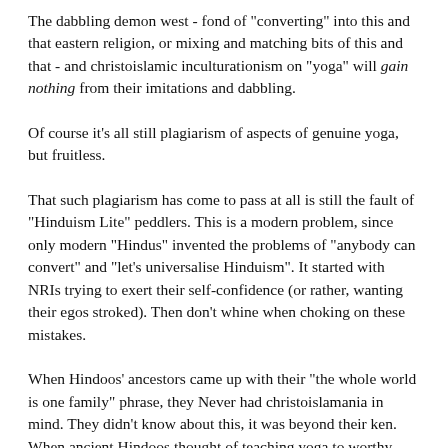The dabbling demon west - fond of "converting" into this and that eastern religion, or mixing and matching bits of this and that - and christoislamic inculturationism on "yoga" will gain nothing from their imitations and dabbling.
Of course it's all still plagiarism of aspects of genuine yoga, but fruitless.
That such plagiarism has come to pass at all is still the fault of "Hinduism Lite" peddlers. This is a modern problem, since only modern "Hindus" invented the problems of "anybody can convert" and "let's universalise Hinduism". It started with NRIs trying to exert their self-confidence (or rather, wanting their egos stroked). Then don't whine when choking on these mistakes.
When Hindoos' ancestors came up with their "the whole world is one family" phrase, they Never had christoislamania in mind. They didn't know about this, it was beyond their ken. When ancient Hindoos thought of teaching yoga to worthy people, they